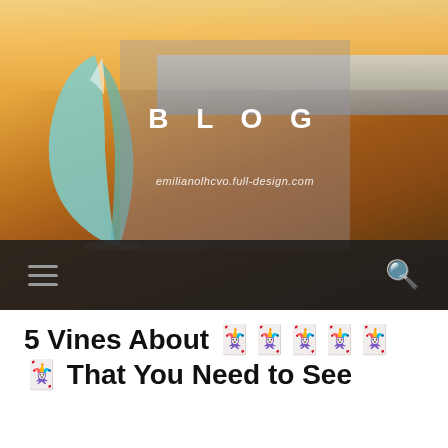[Figure (photo): Beach scene at sunset with a surfboard fin in the foreground, ocean waves in the background. A semi-transparent overlay box contains the blog title 'BLOG' and the URL 'emilianolhcvo.full-design.com'. A dark navigation bar at the bottom has a hamburger menu icon on the left and a search icon on the right.]
5 Vines About 🀄🀄🀄🀄🀄🀄 That You Need to See